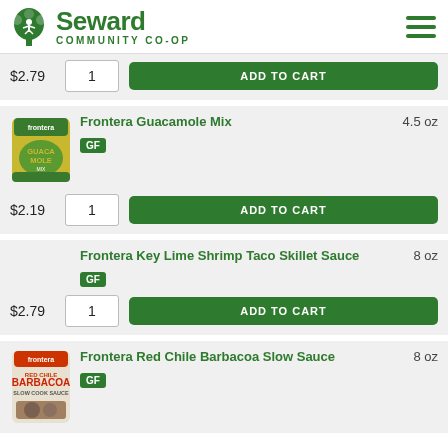Seward Community Co-op
$2.79 | 1 | ADD TO CART
[Figure (photo): Frontera Guacamole Mix product package photo]
Frontera Guacamole Mix GF 4.5 oz
$2.19 | 1 | ADD TO CART
Frontera Key Lime Shrimp Taco Skillet Sauce GF 8 oz
$2.79 | 1 | ADD TO CART
[Figure (photo): Frontera Red Chile Barbacoa Slow Cook Sauce product package photo]
Frontera Red Chile Barbacoa Slow Sauce GF 8 oz